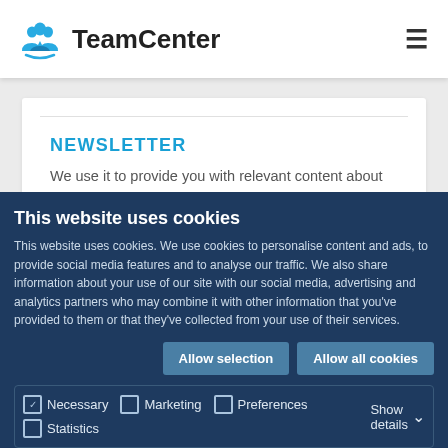TeamCenter
NEWSLETTER
We use it to provide you with relevant content about products and services
I want to receive STATSCORE
This website uses cookies
This website uses cookies. We use cookies to personalise content and ads, to provide social media features and to analyse our traffic. We also share information about your use of our site with our social media, advertising and analytics partners who may combine it with other information that you've provided to them or that they've collected from your use of their services.
Allow selection | Allow all cookies
Necessary | Preferences | Statistics | Marketing | Show details